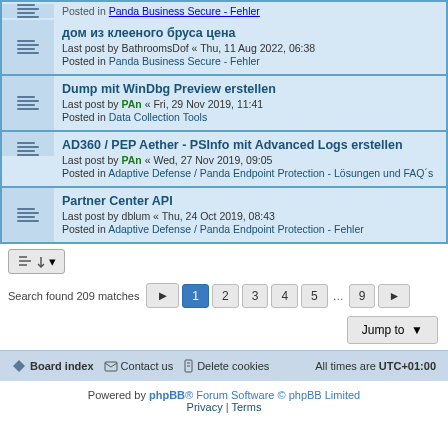Posted in Panda Business Secure - Fehler (partial top row)
дом из клееного бруса цена
Last post by BathroomsDof « Thu, 11 Aug 2022, 06:38
Posted in Panda Business Secure - Fehler
Dump mit WinDbg Preview erstellen
Last post by PAn « Fri, 29 Nov 2019, 11:41
Posted in Data Collection Tools
AD360 / PEP Aether - PSInfo mit Advanced Logs erstellen
Last post by PAn « Wed, 27 Nov 2019, 09:05
Posted in Adaptive Defense / Panda Endpoint Protection - Lösungen und FAQ´s
Partner Center API
Last post by dblum « Thu, 24 Oct 2019, 08:43
Posted in Adaptive Defense / Panda Endpoint Protection - Fehler
Search found 209 matches
Board index   Contact us   Delete cookies   All times are UTC+01:00
Powered by phpBB® Forum Software © phpBB Limited
Privacy | Terms